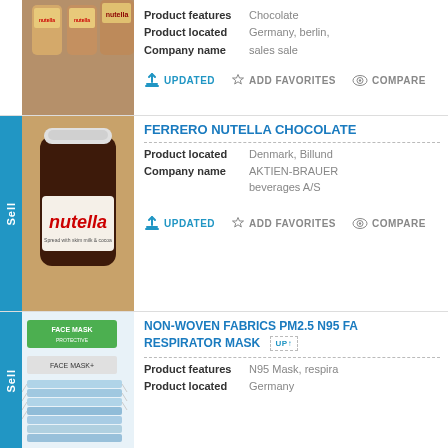[Figure (photo): Nutella jars product photo (top, partially visible)]
Product features: Chocolate
Product located: Germany, berlin,
Company name: sales sale
UPDATED  ADD FAVORITES  COMPARE
[Figure (photo): Ferrero Nutella chocolate jar product photo]
FERRERO NUTELLA CHOCOLATE
Product located: Denmark, Billund
Company name: AKTIEN-BRAUER beverages A/S
UPDATED  ADD FAVORITES  COMPARE
[Figure (photo): Non-woven face mask product photo, blue disposable masks]
NON-WOVEN FABRICS PM2.5 N95 FA RESPIRATOR MASK
Product features: N95 Mask, respira
Product located: Germany